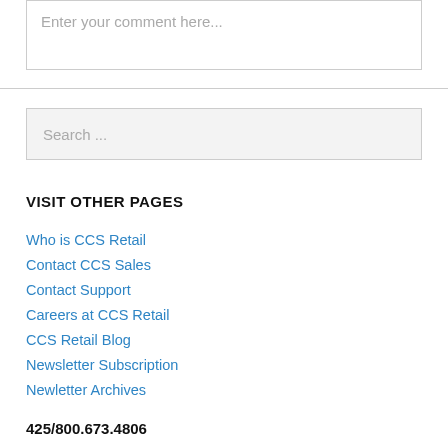Enter your comment here...
Search ...
VISIT OTHER PAGES
Who is CCS Retail
Contact CCS Sales
Contact Support
Careers at CCS Retail
CCS Retail Blog
Newsletter Subscription
Newletter Archives
425/800.673.4806